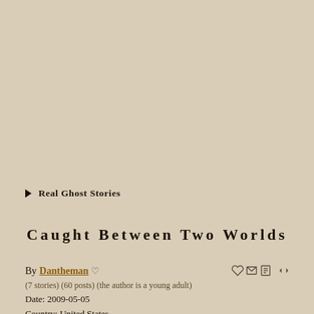Real Ghost Stories
Caught Between Two Worlds
By Dantheman ♡
(7 stories) (60 posts) (the author is a young adult)
Date: 2009-05-05
Country: United States